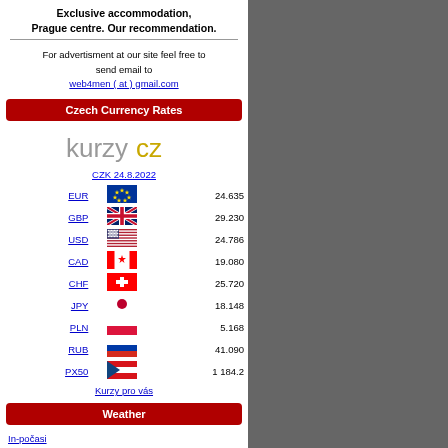Exclusive accommodation, Prague centre. Our recommendation.
For advertisment at our site feel free to send email to web4men ( at ) gmail.com
Czech Currency Rates
[Figure (logo): kurzy.cz logo with grey and gold lettering]
CZK 24.8.2022
| Currency | Flag | Rate |
| --- | --- | --- |
| EUR |  | 24.635 |
| GBP |  | 29.230 |
| USD |  | 24.786 |
| CAD |  | 19.080 |
| CHF |  | 25.720 |
| JPY |  | 18.148 |
| PLN |  | 5.168 |
| RUB |  | 41.090 |
| PX50 |  | 1 184.2 |
Kurzy pro vás
Weather
In-počasi
Interesting Info